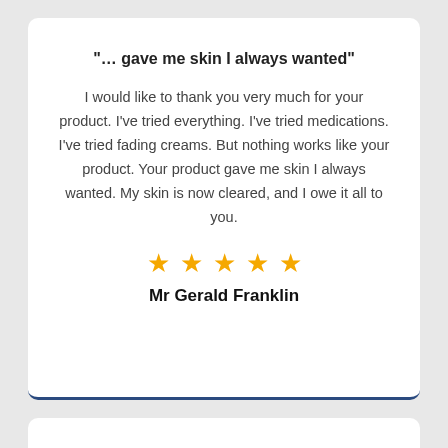"… gave me skin I always wanted"
I would like to thank you very much for your product. I've tried everything. I've tried medications. I've tried fading creams. But nothing works like your product. Your product gave me skin I always wanted. My skin is now cleared, and I owe it all to you.
[Figure (other): Five gold star rating icons]
Mr Gerald Franklin